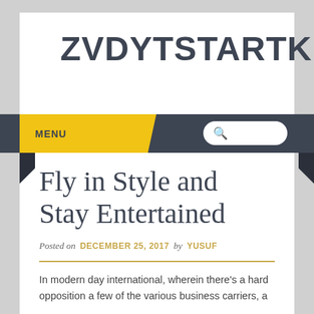ZVDYTSTARTK
MENU
Fly in Style and Stay Entertained
Posted on DECEMBER 25, 2017 by YUSUF
In modern day international, wherein there's a hard opposition a few of the various business carriers, a